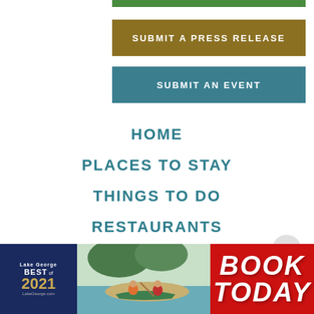SUBMIT A PRESS RELEASE
SUBMIT AN EVENT
HOME
PLACES TO STAY
THINGS TO DO
RESTAURANTS
EVENTS
[Figure (logo): Lake George Best of 2021 badge on dark blue background]
[Figure (photo): People with a canoe by a lakeside]
[Figure (infographic): Red background with white bold text reading BOOK TODAY]